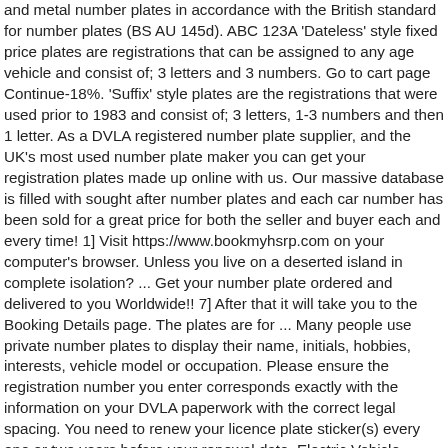and metal number plates in accordance with the British standard for number plates (BS AU 145d). ABC 123A 'Dateless' style fixed price plates are registrations that can be assigned to any age vehicle and consist of; 3 letters and 3 numbers. Go to cart page Continue-18%. 'Suffix' style plates are the registrations that were used prior to 1983 and consist of; 3 letters, 1-3 numbers and then 1 letter. As a DVLA registered number plate supplier, and the UK's most used number plate maker you can get your registration plates made up online with us. Our massive database is filled with sought after number plates and each car number has been sold for a great price for both the seller and buyer each and every time! 1] Visit https://www.bookmyhsrp.com on your computer's browser. Unless you live on a deserted island in complete isolation? ... Get your number plate ordered and delivered to you Worldwide!! 7] After that it will take you to the Booking Details page. The plates are for ... Many people use private number plates to display their name, initials, hobbies, interests, vehicle model or occupation. Please ensure the registration number you enter corresponds exactly with the information on your DVLA paperwork with the correct legal spacing. You need to renew your licence plate sticker(s) every one or two years before your renewal date. Electric Vehicle Green badged numberplates, select the image above for